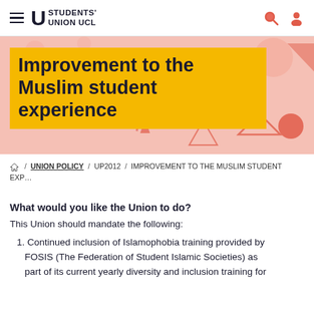Students' Union UCL
[Figure (illustration): Hero banner with pink background and geometric shapes, yellow title box containing 'Improvement to the Muslim student experience']
Improvement to the Muslim student experience
/ UNION POLICY / UP2012 / IMPROVEMENT TO THE MUSLIM STUDENT EXP…
What would you like the Union to do?
This Union should mandate the following:
Continued inclusion of Islamophobia training provided by FOSIS (The Federation of Student Islamic Societies) as part of its current yearly diversity and inclusion training for